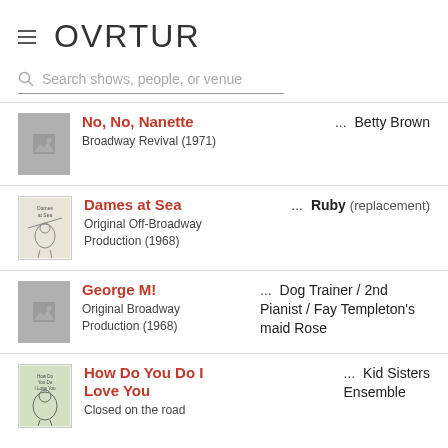OVRTUR
Search shows, people, or venue
No, No, Nanette | Broadway Revival (1971) | ... Betty Brown
Dames at Sea | Original Off-Broadway Production (1968) | ... Ruby (replacement)
George M! | Original Broadway Production (1968) | ... Dog Trainer / 2nd Pianist / Fay Templeton's maid Rose
How Do You Do I Love You | Closed on the road | ... Kid Sisters Ensemble